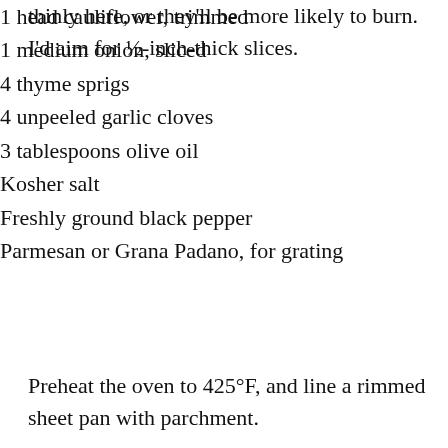thinly here, or they'll be more likely to burn. I'd aim for ½-inch-thick slices.
1 head cauliflower, trimmed
1 medium onion, sliced
4 thyme sprigs
4 unpeeled garlic cloves
3 tablespoons olive oil
Kosher salt
Freshly ground black pepper
Parmesan or Grana Padano, for grating
Preheat the oven to 425°F, and line a rimmed sheet pan with parchment.